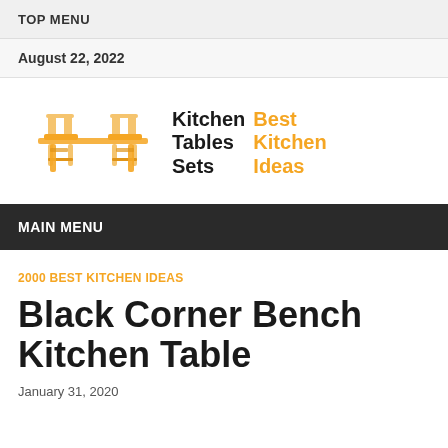TOP MENU
August 22, 2022
[Figure (logo): Kitchen Tables Sets logo with two chairs and a table illustration in orange, followed by text 'Kitchen Tables Sets' in black bold and 'Best Kitchen Ideas' in orange bold]
MAIN MENU
2000 BEST KITCHEN IDEAS
Black Corner Bench Kitchen Table
January 31, 2020